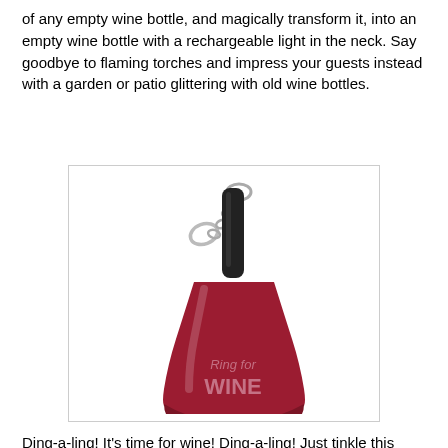of any empty wine bottle, and magically transform it, into an empty wine bottle with a rechargeable light in the neck. Say goodbye to flaming torches and impress your guests instead with a garden or patio glittering with old wine bottles.
[Figure (photo): A red hand bell keyring with black handle and chain, labeled 'Ring for WINE' on the bell body.]
Ding-a-ling! It's time for wine! Ding-a-ling! Just tinkle this amusing little "ring for wine" bell whenever you fancy a glass. Ding-a-ling! Also a keyring, so your front door key will be conveniently at hand when your spouse throws you out.